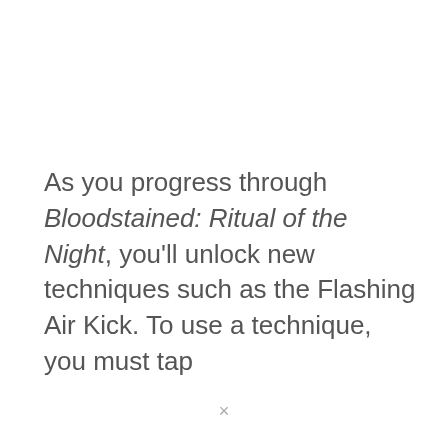As you progress through Bloodstained: Ritual of the Night, you'll unlock new techniques such as the Flashing Air Kick. To use a technique, you must tap
×